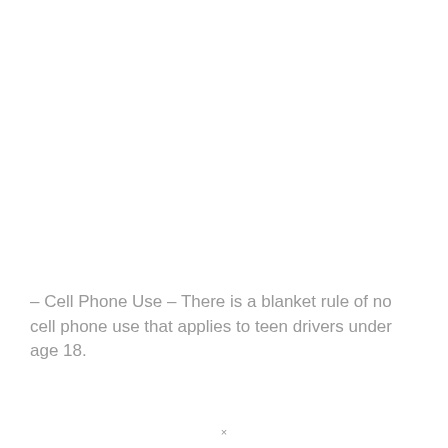– Cell Phone Use – There is a blanket rule of no cell phone use that applies to teen drivers under age 18.
×